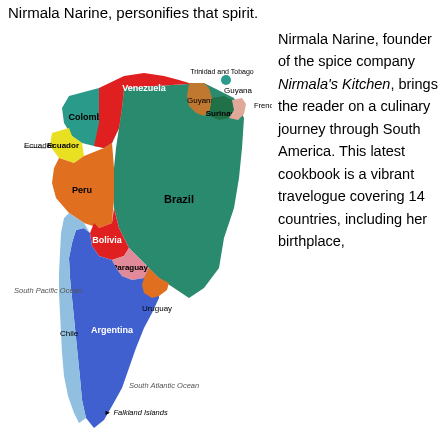Nirmala Narine, personifies that spirit.
[Figure (map): Colorful political map of South America showing countries: Venezuela (red), Colombia (teal/green), Ecuador (yellow), Peru (orange), Brazil (dark teal/green), Suriname (dark green), Guyana (orange-brown), Trinidad and Tobago (teal), French Guiana (salmon/pink), Bolivia (red), Paraguay (pink), Argentina (blue), Chile (light blue), Uruguay (orange). Also labels South Pacific Ocean, South Atlantic Ocean, and Falkland Islands.]
Nirmala Narine, founder of the spice company Nirmala's Kitchen, brings the reader on a culinary journey through South America. This latest cookbook is a vibrant travelogue covering 14 countries, including her birthplace,